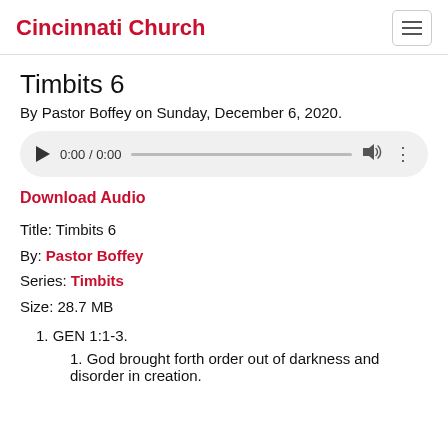Cincinnati Church
Timbits 6
By Pastor Boffey on Sunday, December 6, 2020.
[Figure (other): Audio player showing 0:00 / 0:00 with play button, progress bar, volume and menu icons]
Download Audio
Title: Timbits 6
By: Pastor Boffey
Series: Timbits
Size: 28.7 MB
GEN 1:1-3.
God brought forth order out of darkness and disorder in creation.